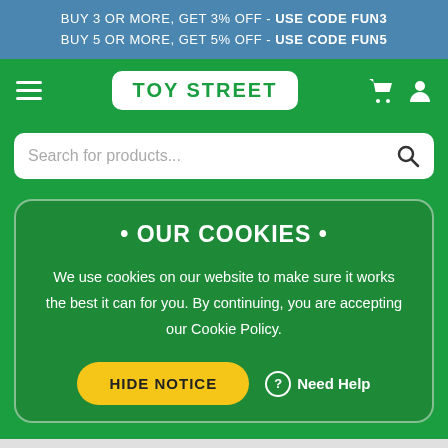BUY 3 OR MORE, GET 3% OFF - USE CODE FUN3
BUY 5 OR MORE, GET 5% OFF - USE CODE FUN5
[Figure (screenshot): Toy Street navigation bar with hamburger menu, logo, cart and user icons on green background]
Search for products...
• OUR COOKIES •
We use cookies on our website to make sure it works the best it can for you. By continuing, you are accepting our Cookie Policy.
HIDE NOTICE
Need Help